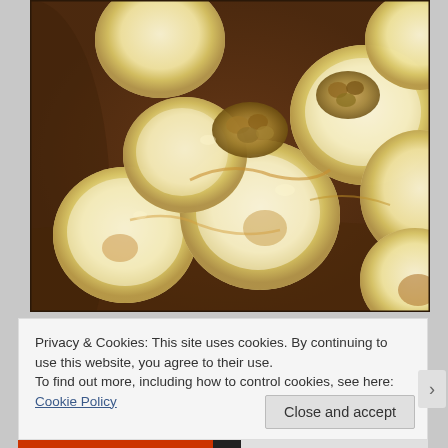[Figure (photo): Close-up photo of banana slices topped with walnuts/nuts on what appears to be toast or a bread base with chocolate spread, drizzled with honey]
Privacy & Cookies: This site uses cookies. By continuing to use this website, you agree to their use.
To find out more, including how to control cookies, see here: Cookie Policy
Close and accept